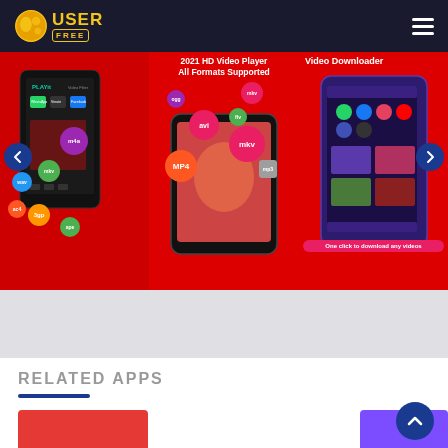[Figure (screenshot): UserFree website header with logo and hamburger menu on dark navy background]
[Figure (screenshot): App screenshot carousel showing three mobile app screenshots: PLAYit video player, 2021 HD Video Player All Formats Supported, and Video Downloader apps on red backgrounds, with left/right navigation arrows]
[Figure (screenshot): Gray section below carousel]
RELATED APPS
[Figure (screenshot): Bottom partial view showing two app icon thumbnails (red and purple) and a scroll-to-top circular button]